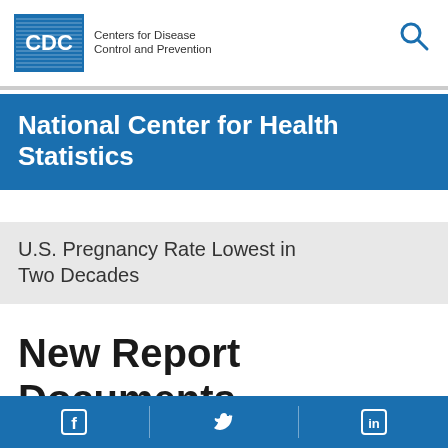Centers for Disease Control and Prevention
National Center for Health Statistics
U.S. Pregnancy Rate Lowest in Two Decades
New Report Documents Trends in Births,
Facebook | Twitter | LinkedIn